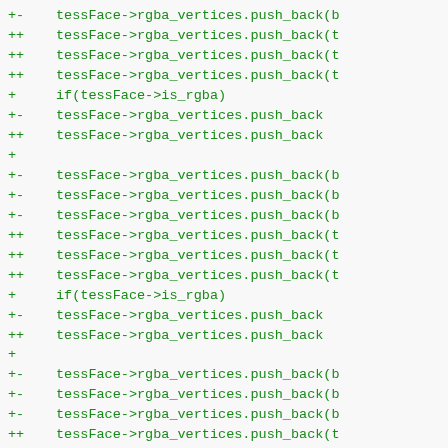+-    tessFace->rgba_vertices.push_back(b
++    tessFace->rgba_vertices.push_back(t
++    tessFace->rgba_vertices.push_back(t
++    tessFace->rgba_vertices.push_back(t
+     if(tessFace->is_rgba)
+-        tessFace->rgba_vertices.push_back
++        tessFace->rgba_vertices.push_back
+
+-    tessFace->rgba_vertices.push_back(b
+-    tessFace->rgba_vertices.push_back(b
+-    tessFace->rgba_vertices.push_back(b
++    tessFace->rgba_vertices.push_back(t
++    tessFace->rgba_vertices.push_back(t
++    tessFace->rgba_vertices.push_back(t
+     if(tessFace->is_rgba)
+-        tessFace->rgba_vertices.push_back
++        tessFace->rgba_vertices.push_back
+
+-    tessFace->rgba_vertices.push_back(b
+-    tessFace->rgba_vertices.push_back(b
+-    tessFace->rgba_vertices.push_back(b
++    tessFace->rgba_vertices.push_back(t